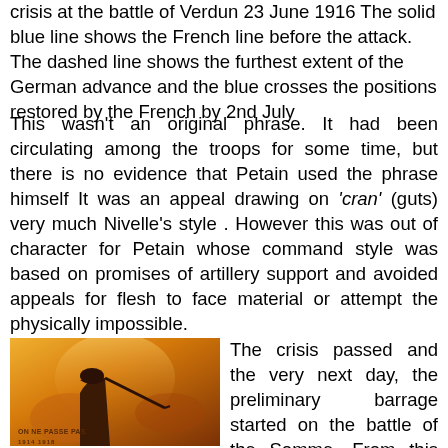crisis at the battle of Verdun 23 June 1916 The solid blue line shows the French line before the attack. The dashed line shows the furthest extent of the German advance and the blue crosses the positions restored by the French by 2nd July
This wasn't an original phrase. It had been circulating among the troops for some time, but there is no evidence that Petain used the phrase himself It was an appeal drawing on 'cran' (guts) very much Nivelle's style . However this was out of character for Petain whose command style was based on promises of artillery support and avoided appeals for flesh to face material or attempt the physically impossible.
[Figure (illustration): World War I French propaganda poster showing a soldier with a rifle, text reads 'ON NE PASSE PAS 1914 1918']
The crisis passed and the very next day, the preliminary barrage started on the battle of the Somme. From this moment Verdun became a secondary sector. However, throughout the